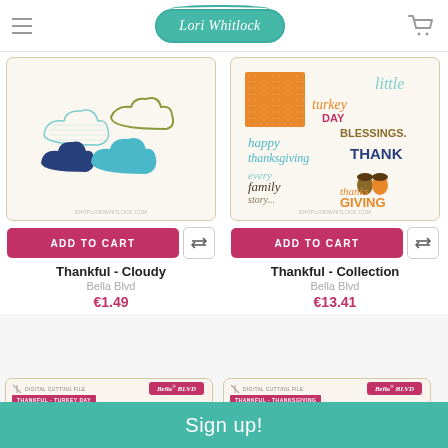Lori Whitlock
[Figure (photo): Product image: Thankful Cloudy die cut shapes showing cloud outlines in blue, teal, navy on white background]
ADD TO CART
Thankful - Cloudy
Bella Blvd
€1.49
[Figure (photo): Product image: Thankful Collection scrapbook elements with Thanksgiving themed word art and patterns]
ADD TO CART
Thankful - Collection
Bella Blvd
€13.41
[Figure (photo): Bella Blvd digital cutting file package for Thankful Turkey Day]
[Figure (photo): Bella Blvd digital cutting file package for Thankful Thanksgiving]
Sign up!